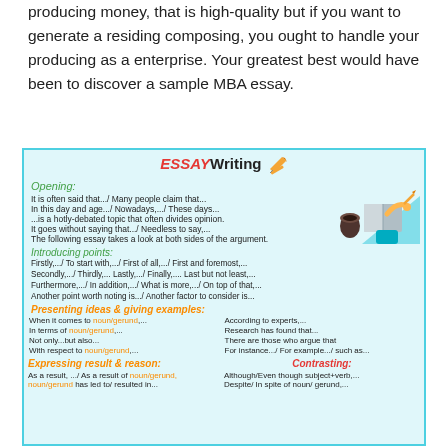producing money, that is high-quality but if you want to generate a residing composing, you ought to handle your producing as a enterprise. Your greatest best would have been to discover a sample MBA essay.
[Figure (infographic): Essay Writing infographic showing opening phrases, introducing points, presenting ideas and giving examples, expressing result and reason, and contrasting sections with example phrases.]